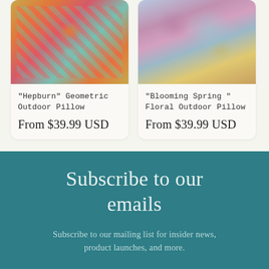[Figure (photo): Hepburn Geometric Outdoor Pillow – colorful geometric/Aztec pattern pillow in reds, teals, oranges, and golds]
"Hepburn" Geometric Outdoor Pillow
From $39.99 USD
[Figure (photo): Blooming Spring Floral Outdoor Pillow – colorful floral/watercolor pillow in blues, purples, pinks, and yellows]
"Blooming Spring " Floral Outdoor Pillow
From $39.99 USD
Subscribe to our emails
Subscribe to our mailing list for insider news, product launches, and more.